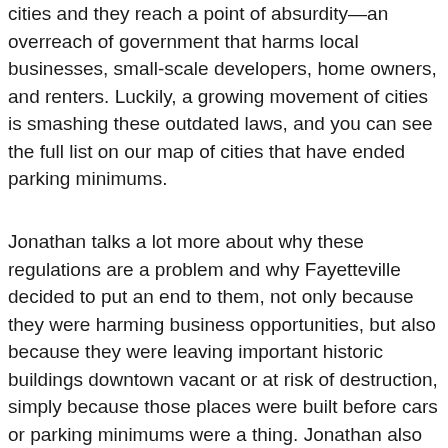cities and they reach a point of absurdity—an overreach of government that harms local businesses, small-scale developers, home owners, and renters. Luckily, a growing movement of cities is smashing these outdated laws, and you can see the full list on our map of cities that have ended parking minimums.
Jonathan talks a lot more about why these regulations are a problem and why Fayetteville decided to put an end to them, not only because they were harming business opportunities, but also because they were leaving important historic buildings downtown vacant or at risk of destruction, simply because those places were built before cars or parking minimums were a thing. Jonathan also talks about the slow, but important, results that have come about since minimums were eliminated in Fayetteville, including new restaurants...